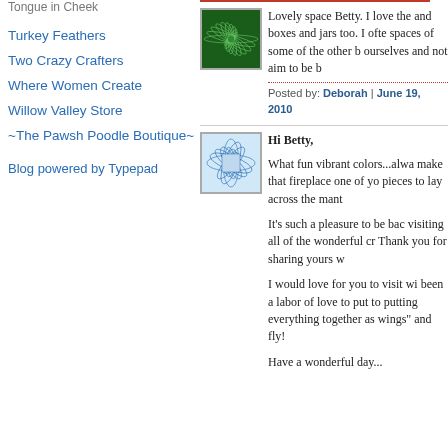Turkey Feathers
Two Crazy Crafters
Where Women Create
Willow Valley Store
~The Pawsh Poodle Boutique~
Blog powered by Typepad
[Figure (illustration): Green spiral fractal pattern avatar]
Lovely space Betty. I love the and boxes and jars too. I ofte spaces of some of the other b ourselves and not aim to be b
Posted by: Deborah | June 19, 2010
[Figure (illustration): Blue geometric grid pattern avatar]
Hi Betty,
What fun vibrant colors...alwa make that fireplace one of yo pieces to lay across the mant
It's such a pleasure to be bac visiting all of the wonderful cr Thank you for sharing yours w
I would love for you to visit wi been a labor of love to put to putting everything together as wings" and fly!
Have a wonderful day...